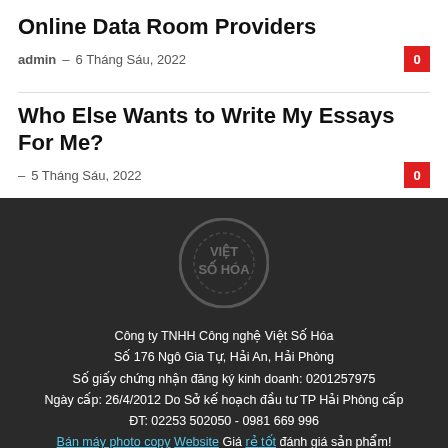Online Data Room Providers
admin – 6 Tháng Sáu, 2022
Who Else Wants to Write My Essays For Me?
– 5 Tháng Sáu, 2022
[Figure (logo): Circular logo watermark for Việt Số Hóa company on dark background]
Công ty TNHH Công nghệ Việt Số Hóa
Số 176 Ngô Gia Tự, Hải An, Hải Phòng
Số giấy chứng nhận đăng ký kinh doanh: 0201257975
Ngày cấp: 26/4/2012 Do Sở kế hoạch đầu tư TP Hải Phòng cấp
ĐT: 02253 502050 - 0981 669 996
Bán máy photo copy Website Giá rẻ tốt đánh giá sản phẩm!